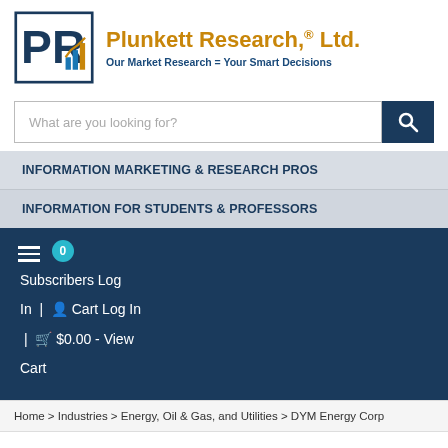[Figure (logo): Plunkett Research Ltd logo with stylized PR letters and bar/line chart graphic in blue and gold]
Plunkett Research,® Ltd.
Our Market Research = Your Smart Decisions
What are you looking for?
INFORMATION MARKETING & RESEARCH PROS
INFORMATION FOR STUDENTS & PROFESSORS
0 Subscribers Log In | Cart Log In | $0.00 - View Cart
Home > Industries > Energy, Oil & Gas, and Utilities > DYM Energy Corp
DYM ENERGY CORP